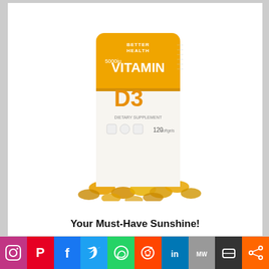[Figure (photo): Vitamin D3 5000IU supplement bottle with golden softgel capsules scattered in front, labeled Better Health Vitamin D3, 120 softgels]
Your Must-Have Sunshine!
[Figure (photo): Three PuraThrive Micelle Liposomal Radiant bottles with white caps and orange/gold labels, shown in a triple arrangement]
[Figure (infographic): Social media sharing bar with icons: Instagram, Pinterest, Facebook, Twitter, WhatsApp, Reddit, LinkedIn, MeWe, Mix, Share]